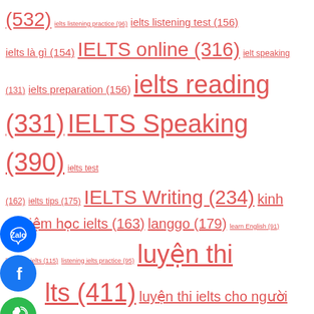(532) ielts listening practice (96) ielts listening test (156) ielts là gì (154) IELTS online (316) ielt speaking (131) ielts preparation (156) ielts reading (331) IELTS Speaking (390) ielts test (162) ielts tips (175) IELTS Writing (234) kinh nghiệm học ielts (163) langgo (179) learn English (91) listening ielts (115) listening ielts practice (95) luyện thi ielts (411) luyện thi ielts cho người mất gốc (203) luyện thi ielts cho người mới bắt đầu (177) luyện thi ielts cấp tốc (100) luyện thi ielts hiệu quả (160) luyện thi ielts hà nội (89) luyện thi ielts online (203) thang ielts (85) the ielts listening test (129) tiếng anh giao tiếp (112) tiếng anh trẻ em (84) từ vựng ielts theo chủ đề (149) tự học ielts (119) vocabulary for ielts cambridge (122)